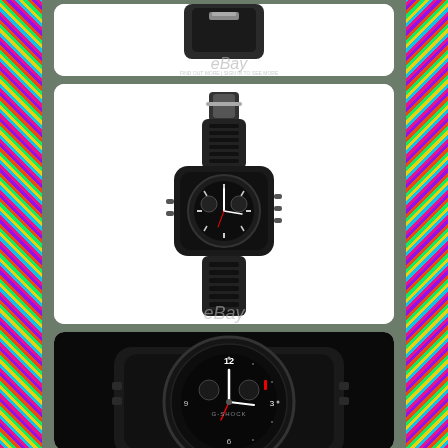[Figure (photo): eBay listing image showing a black G-Shock watch strap/back, partially cropped, with eBay watermark]
[Figure (photo): Full view of black Casio G-Shock watch standing upright on white background, showing full strap and dial, with eBay watermark]
[Figure (photo): Close-up angled photo of black Casio G-Shock watch face and case on dark background, showing dial details]